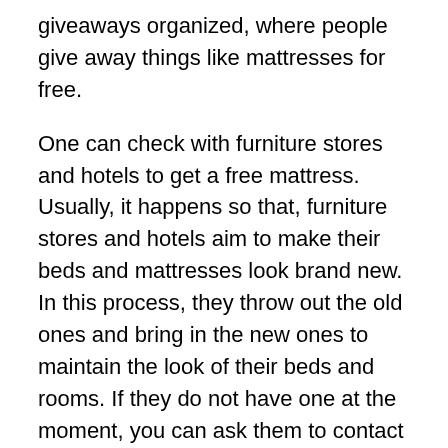giveaways organized, where people give away things like mattresses for free.
One can check with furniture stores and hotels to get a free mattress. Usually, it happens so that, furniture stores and hotels aim to make their beds and mattresses look brand new. In this process, they throw out the old ones and bring in the new ones to maintain the look of their beds and rooms. If they do not have one at the moment, you can ask them to contact you whenever there is availability.
You could also visit hostels during the moving-out period of the students. Generally, the students that move out of their rooms don't carry their mattresses with